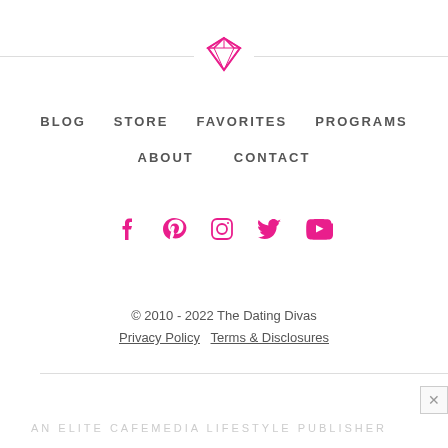[Figure (illustration): Diamond gem icon centered between two horizontal divider lines]
BLOG  STORE  FAVORITES  PROGRAMS
ABOUT  CONTACT
[Figure (illustration): Social media icons: Facebook, Pinterest, Instagram, Twitter, YouTube in pink/magenta color]
© 2010 - 2022 The Dating Divas
Privacy Policy  Terms & Disclosures
AN ELITE CAFEMEDIA LIFESTYLE PUBLISHER